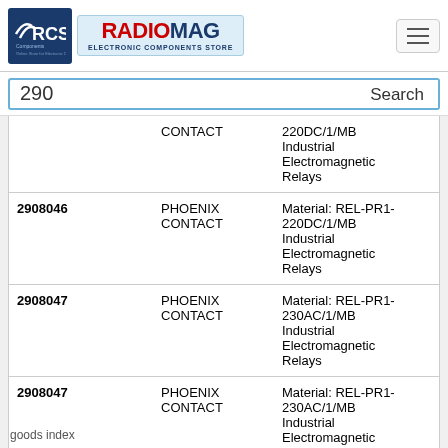[Figure (logo): RCS Components logo — dark blue background with white text]
[Figure (logo): RadioMag Electronic Components Store logo — red and blue text on light blue background]
290
Search
| ID | Manufacturer | Description |
| --- | --- | --- |
|  | PHOENIX CONTACT | 220DC/1/MB Industrial Electromagnetic Relays |
| 2908046 | PHOENIX CONTACT | Material: REL-PR1-220DC/1/MB Industrial Electromagnetic Relays |
| 2908047 | PHOENIX CONTACT | Material: REL-PR1-230AC/1/MB Industrial Electromagnetic Relays |
| 2908047 | PHOENIX CONTACT | Material: REL-PR1-230AC/1/MB Industrial Electromagnetic Relays |
goods index